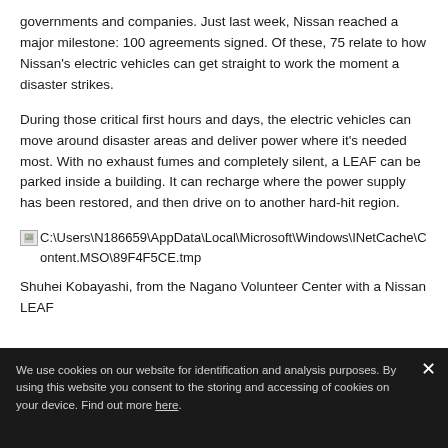governments and companies. Just last week, Nissan reached a major milestone: 100 agreements signed. Of these, 75 relate to how Nissan's electric vehicles can get straight to work the moment a disaster strikes.
During those critical first hours and days, the electric vehicles can move around disaster areas and deliver power where it's needed most. With no exhaust fumes and completely silent, a LEAF can be parked inside a building. It can recharge where the power supply has been restored, and then drive on to another hard-hit region.
[Figure (other): Broken image placeholder showing file path: C:\Users\N186659\AppData\Local\Microsoft\Windows\INetCache\Content.MSO\89F4F5CE.tmp]
Shuhei Kobayashi, from the Nagano Volunteer Center with a Nissan LEAF
We use cookies on our website for identification and analysis purposes. By using this website you consent to the storing and accessing of cookies on your device. Find out more here.